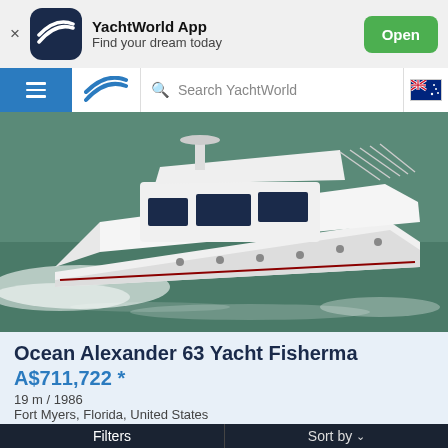YachtWorld App — Find your dream today — Open
Search YachtWorld
[Figure (photo): A large white motor yacht (Ocean Alexander 63 Yacht Fisherman) underway on green water, photographed from the side-front, with wake visible.]
Ocean Alexander 63 Yacht Fisherma
A$711,722 *
19 m / 1986
Fort Myers, Florida, United States
Filters     Sort by